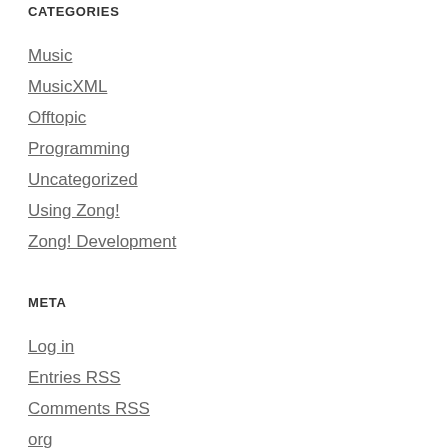CATEGORIES
Music
MusicXML
Offtopic
Programming
Uncategorized
Using Zong!
Zong! Development
META
Log in
Entries RSS
Comments RSS
org